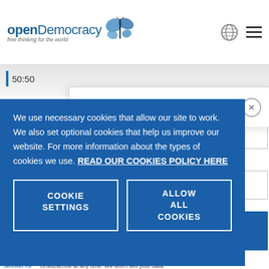openDemocracy — free thinking for the world
50:50
Get our weekly email
from
We use necessary cookies that allow our site to work. We also set optional cookies that help us improve our website. For more information about the types of cookies we use. READ OUR COOKIES POLICY HERE
COOKIE SETTINGS
ALLOW ALL COOKIES
Unsubscribe at any time. We won't sell your data.
Jennifer All